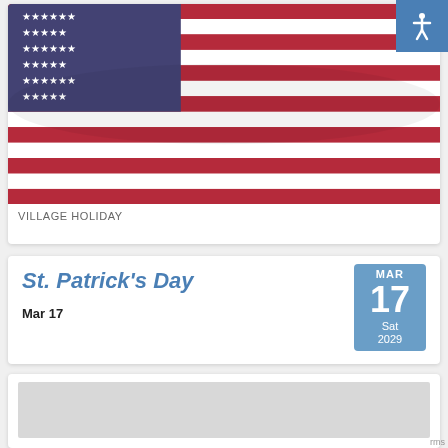[Figure (photo): American flag waving, red white and blue stripes and stars on blue canton, photographed close up]
VILLAGE HOLIDAY
St. Patrick's Day
Mar 17
[Figure (photo): Partial image of another event, gray/white, partially visible at bottom of page]